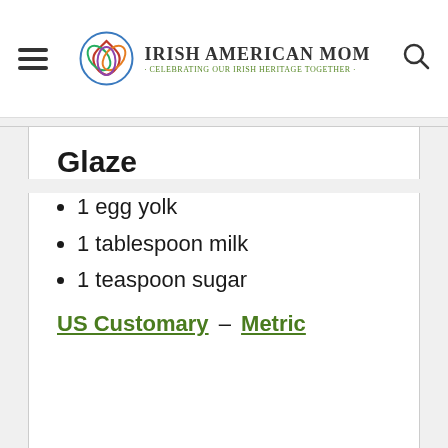Irish American Mom - Celebrating Our Irish Heritage Together
Glaze
1 egg yolk
1 tablespoon milk
1 teaspoon sugar
US Customary – Metric